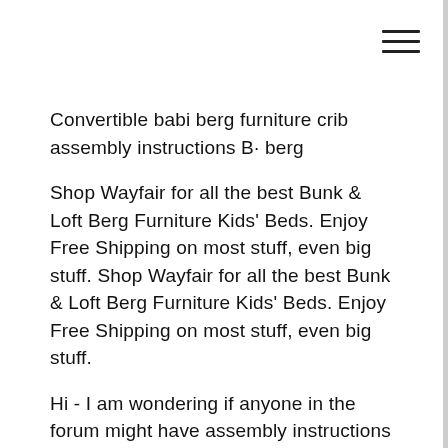Convertible babi berg furniture crib assembly instructions B· berg
Shop Wayfair for all the best Bunk & Loft Berg Furniture Kids' Beds. Enjoy Free Shipping on most stuff, even big stuff. Shop Wayfair for all the best Bunk & Loft Berg Furniture Kids' Beds. Enjoy Free Shipping on most stuff, even big stuff.
Hi - I am wondering if anyone in the forum might have assembly instructions for a Berg loft or bunk bed that they might be willing to scan and share? Berg Furniture. 1.4K likes. Berg Furniture is a manufacturer specializing in innovative children's furniture since 1984. Made in USA.